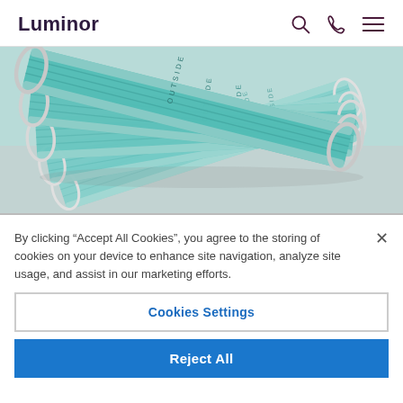Luminor
[Figure (photo): Stack of teal/green surgical face masks with elastic ear loops, labeled 'OUTSIDE', placed on a surface]
By clicking “Accept All Cookies”, you agree to the storing of cookies on your device to enhance site navigation, analyze site usage, and assist in our marketing efforts.
Cookies Settings
Reject All